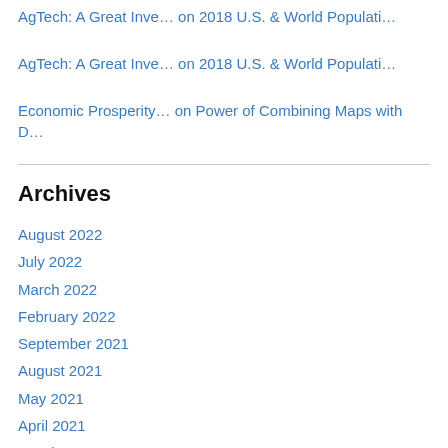AgTech: A Great Inve… on 2018 U.S. & World Populati…
AgTech: A Great Inve… on 2018 U.S. & World Populati…
Economic Prosperity… on Power of Combining Maps with D…
Archives
August 2022
July 2022
March 2022
February 2022
September 2021
August 2021
May 2021
April 2021
March 2021